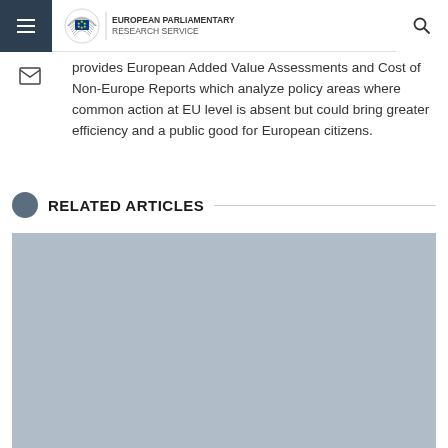European Parliamentary Research Service — navigation header
provides European Added Value Assessments and Cost of Non-Europe Reports which analyze policy areas where common action at EU level is absent but could bring greater efficiency and a public good for European citizens.
RELATED ARTICLES
[Figure (photo): Gray placeholder image for a related article thumbnail]